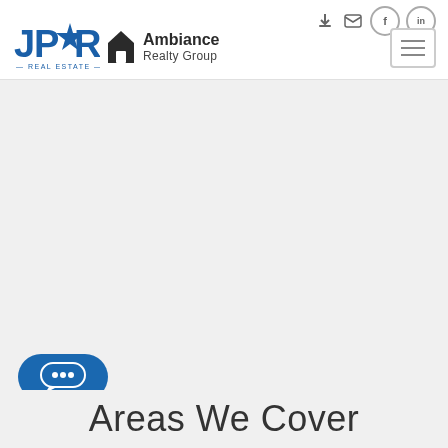[Figure (logo): JPAR Real Estate logo - blue star and letters]
[Figure (logo): Ambiance Realty Group logo - house icon with text]
[Figure (screenshot): Large grey content area - map or page content placeholder]
[Figure (infographic): Blue chat bubble button with three dots]
Areas We Cover